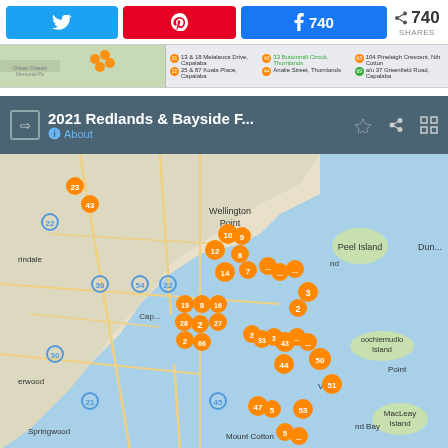[Figure (screenshot): Social sharing buttons: Twitter, Pinterest, Facebook with 740 count, and share icon with 740 SHARES]
[Figure (screenshot): Small map thumbnail bar showing a Google Maps preview with numbered orange pins and a list of addresses for 2021 Redlands & Bayside properties]
[Figure (map): Google Maps showing 2021 Redlands & Bayside F... with many numbered orange cluster pins across the Redlands/Bayside area of Queensland, Australia, including locations near Wellington Point, Capalaba, Peel Island, Coochiemudlo Island, Springwood, Mount Cotton, MacLeay Island]